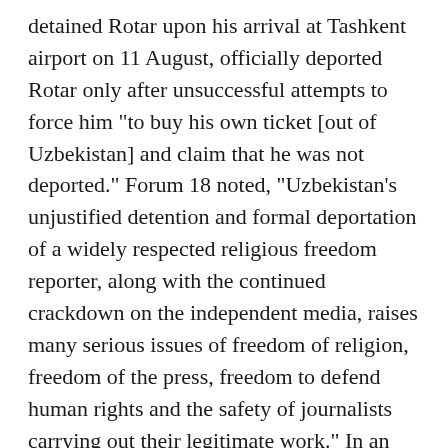detained Rotar upon his arrival at Tashkent airport on 11 August, officially deported Rotar only after unsuccessful attempts to force him "to buy his own ticket [out of Uzbekistan] and claim that he was not deported." Forum 18 noted, "Uzbekistan's unjustified detention and formal deportation of a widely respected religious freedom reporter, along with the continued crackdown on the independent media, raises many serious issues of freedom of religion, freedom of the press, freedom to defend human rights and the safety of journalists carrying out their legitimate work." In an interview with fergana.ru on 14 August, Rotar, a Russian citizen who works as a correspondent for Forum 18 and is a contributor to the U.S.–based Jamestown Foundation, said that Uzbek security personnel told him: "How long are you going to get on our nerves? Buy a ticket wherever you want, or else we'll beat